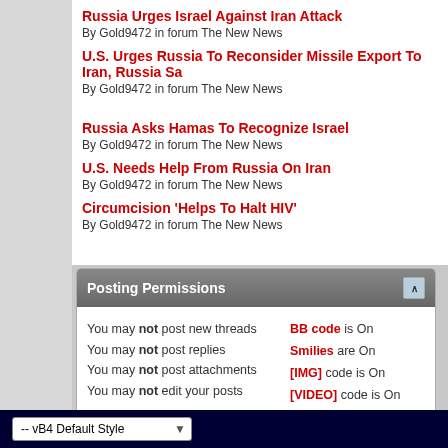Russia Urges Israel Against Iran Attack
By Gold9472 in forum The New News
U.S. Urges Russia To Reconsider Missile Export To Iran, Russia Sa...
By Gold9472 in forum The New News
Russia Asks Hamas To Recognize Israel
By Gold9472 in forum The New News
U.S. Needs Help From Russia On Iran
By Gold9472 in forum The New News
Circumcision 'Helps To Halt HIV'
By Gold9472 in forum The New News
Posting Permissions
| Permissions | Settings |
| --- | --- |
| You may not post new threads | BB code is On |
| You may not post replies | Smilies are On |
| You may not post attachments | [IMG] code is On |
| You may not edit your posts | [VIDEO] code is On |
|  | HTML code is Off |
|  | Forum Rules |
-- vB4 Default Style